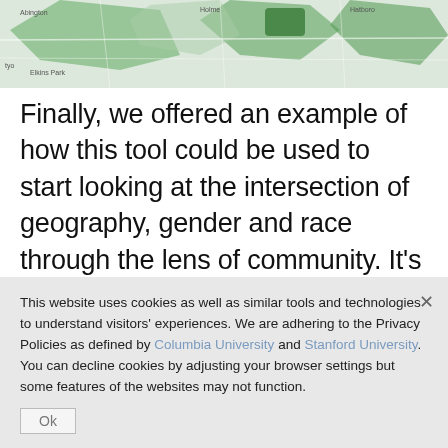[Figure (map): Partial view of a geographic map with green highlighted regions overlaid on a street/area map]
Finally, we offered an example of how this tool could be used to start looking at the intersection of geography, gender and race through the lens of community. It's important to note here that Temple researchers manually assigned race and gender characteristics to people's names who were mentioned in stories. Typically information about race and gender isn't gathered about people who appear in Inquirer stories
This website uses cookies as well as similar tools and technologies to understand visitors' experiences. We are adhering to the Privacy Policies as defined by Columbia University and Stanford University. You can decline cookies by adjusting your browser settings but some features of the websites may not function.
Ok